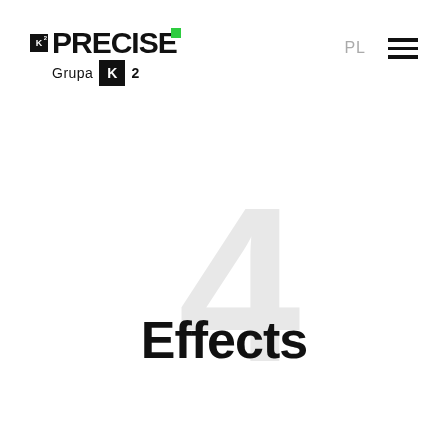[Figure (logo): K2 PRECISE Grupa K2 logo with green accent square in top-right of the E letter]
PL  ≡
4 Effects